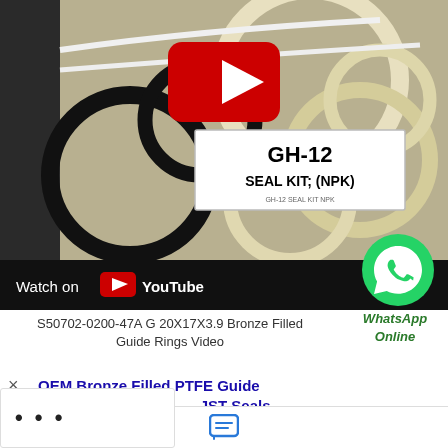[Figure (screenshot): Video thumbnail showing various O-rings and seal rings (black and cream/white) arranged on a surface, with a white label card reading 'GH-12 SEAL KIT; (NPK)'. A red YouTube play button is visible in the upper center. A 'Watch on YouTube' bar appears at the bottom left. A WhatsApp icon appears at the bottom right.]
S50702-0200-47A G 20X17X3.9 Bronze Filled Guide Rings Video
WhatsApp Online
× OEM Bronze Filled PTFE Guide Ring,Bronze Filled ... - JST-Seals
OEM Bronze filled PTFE guide ring with reasonable price, More Bronze filled PTFE guide ring,contact us!
Chat now